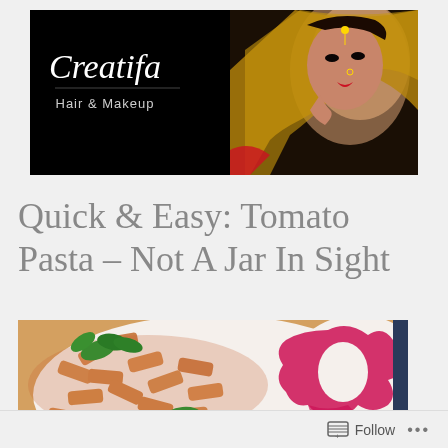[Figure (photo): Creatifa Hair & Makeup banner with cursive logo on black background and a bride in traditional South Asian bridal attire and jewelry on the right side]
Quick & Easy: Tomato Pasta – Not A Jar In Sight
[Figure (photo): Close-up photo of penne pasta in tomato sauce on a white plate with pink floral pattern, garnished with fresh cilantro/coriander leaves]
Follow ...